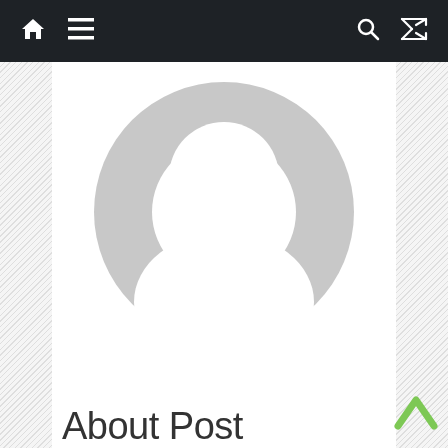Navigation bar with home, menu, search, and shuffle icons
[Figure (illustration): Generic user avatar placeholder: gray circle with white head and shoulders silhouette]
About Post